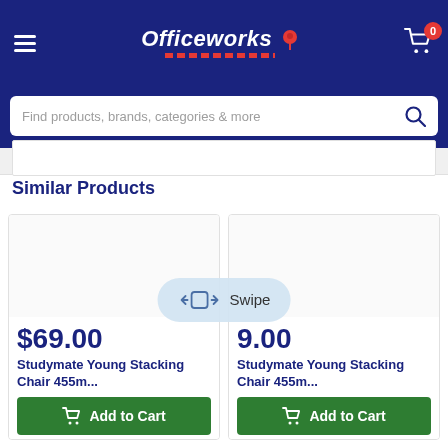Officeworks
Find products, brands, categories & more
Similar Products
[Figure (screenshot): Product card for Studymate Young Stacking Chair 455m... showing price $69.00 and Add to Cart button]
[Figure (screenshot): Product card for Studymate Young Stacking Chair 455m... showing partial price and Add to Cart button]
Swipe